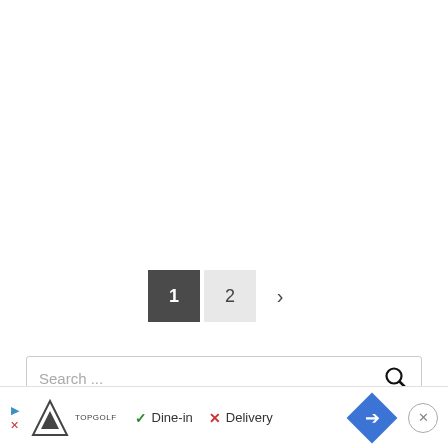[Figure (screenshot): Pagination controls showing page 1 (active, dark background) and page 2 (inactive, light background) buttons, plus a right arrow for next page]
Search ...
FOLL
[Figure (screenshot): Advertisement banner for Topgolf showing logo, checkmark Dine-in, X Delivery, navigation arrow icon, and close button]